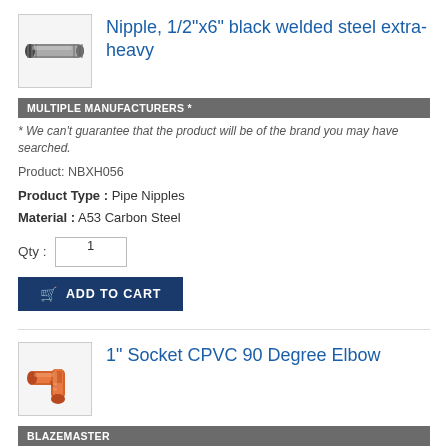[Figure (photo): Photo of a black welded steel pipe nipple, cylindrical shape with threading on both ends]
Nipple, 1/2"x6" black welded steel extra-heavy
MULTIPLE MANUFACTURERS *
* We can't guarantee that the product will be of the brand you may have searched.
Product: NBXH056
Product Type : Pipe Nipples
Material : A53 Carbon Steel
Qty : 1
ADD TO CART
[Figure (photo): Photo of an orange CPVC 90 degree elbow pipe fitting]
1" Socket CPVC 90 Degree Elbow
BLAZEMASTER
Product: 90BLZ1